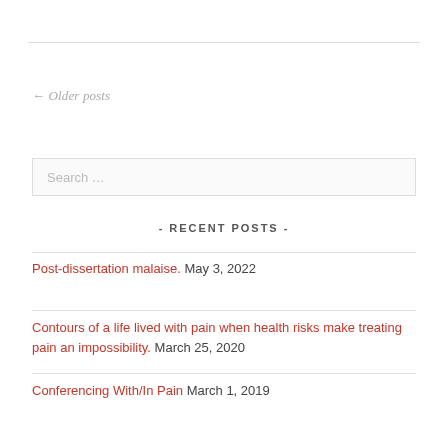← Older posts
Search …
- RECENT POSTS -
Post-dissertation malaise. May 3, 2022
Contours of a life lived with pain when health risks make treating pain an impossibility. March 25, 2020
Conferencing With/In Pain March 1, 2019